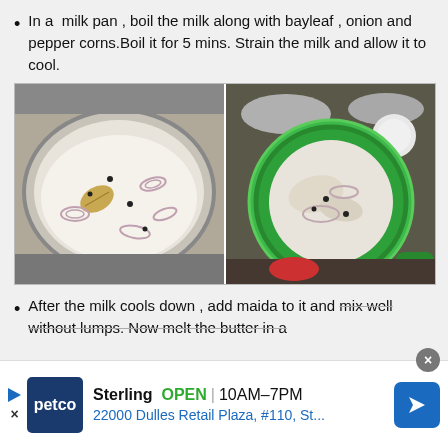In a  milk pan , boil the milk along with bayleaf , onion and pepper corns.Boil it for 5 mins. Strain the milk and allow it to cool.
[Figure (photo): Two side-by-side cooking photos: left shows a metal pan with milk, bay leaf, onion slices, and pepper corns; right shows a green strainer over a container with strained onion and spices.]
After the milk cools down , add maida to it and mix well without lumps. Now melt the butter in a
Sterling  OPEN | 10AM–7PM
22000 Dulles Retail Plaza, #110, St...